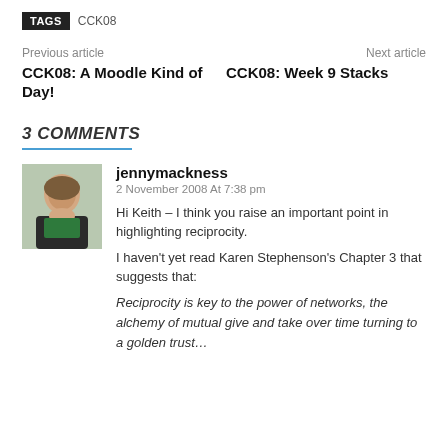TAGS   CCK08
Previous article   Next article
CCK08: A Moodle Kind of Day!   CCK08: Week 9 Stacks
3 COMMENTS
jennymackness
2 November 2008 At 7:38 pm
Hi Keith – I think you raise an important point in highlighting reciprocity.
I haven't yet read Karen Stephenson's Chapter 3 that suggests that:
Reciprocity is key to the power of networks, the alchemy of mutual give and take over time turning to a golden trust…